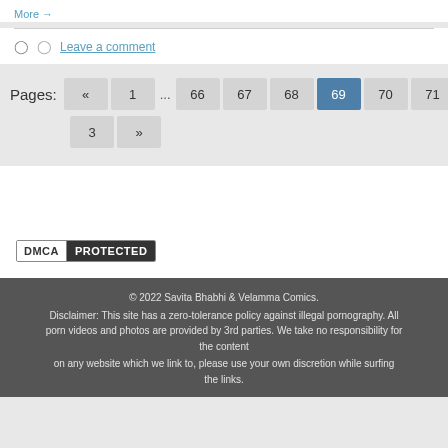More →
Leave a comment
Pages: « 1 ... 66 67 68 69 70 71 72 7
3 »
[Figure (other): DMCA Protected badge]
© 2022 Savita Bhabhi & Velamma Comics.
Disclaimer: This site has a zero-tolerance policy against illegal pornography. All porn videos and photos are provided by 3rd parties. We take no responsibility for the content
on any website which we link to, please use your own discretion while surfing the links.